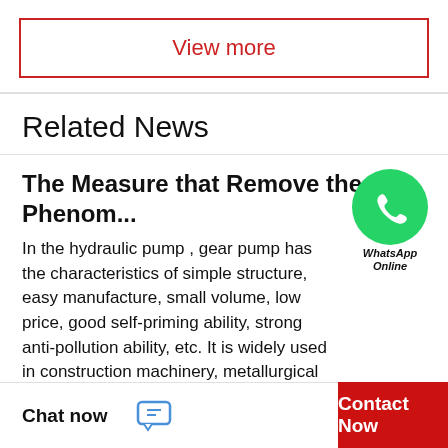View more
Related News
The Measure that Remove the Phenom...
In the hydraulic pump , gear pump has the characteristics of simple structure, easy manufacture, small volume, low price, good self-priming ability, strong anti-pollution ability, etc. It is widely used in construction machinery, metallurgical machinery,...
[Figure (logo): WhatsApp Online green circle logo with phone icon and text 'WhatsApp Online']
Recommended Products
[Figure (photo): Two product thumbnail images side by side, partially visible]
Chat now
Contact Now